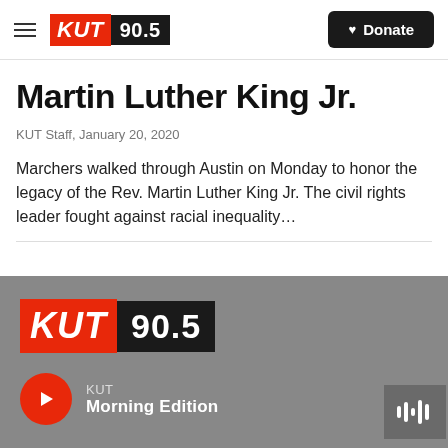[Figure (logo): KUT 90.5 radio station logo in header navigation bar with hamburger menu and Donate button]
Martin Luther King Jr.
KUT Staff,  January 20, 2020
Marchers walked through Austin on Monday to honor the legacy of the Rev. Martin Luther King Jr. The civil rights leader fought against racial inequality…
[Figure (screenshot): KUT 90.5 audio player widget on dark gray background showing play button and Morning Edition show name]